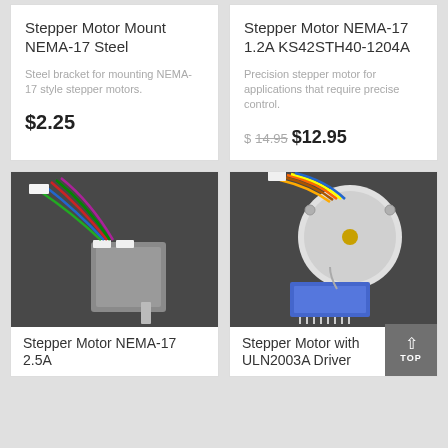Stepper Motor Mount NEMA-17 Steel
Steel bracket for mounting NEMA-17 style stepper motors.
$2.25
Stepper Motor NEMA-17 1.2A KS42STH40-1204A
Precision stepper motor for applications that require precise control.
$ 14.95  $12.95
[Figure (photo): Stepper Motor NEMA-17 2.5A with colorful wires on dark background]
[Figure (photo): Stepper Motor with ULN2003A Driver with colorful wires and driver board on dark background]
Stepper Motor NEMA-17 2.5A
Stepper Motor with ULN2003A Driver